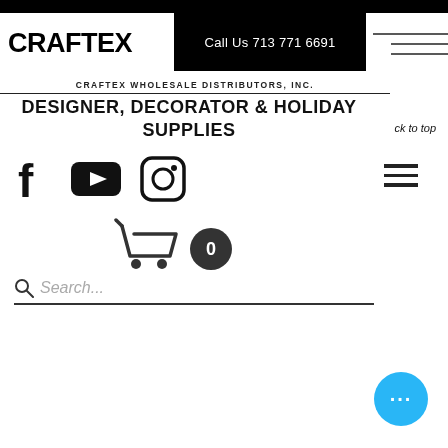CRAFTEX
Call Us 713 771 6691
CRAFTEX WHOLESALE DISTRIBUTORS, INC.
DESIGNER, DECORATOR & HOLIDAY SUPPLIES
ck to top
[Figure (screenshot): Social media icons: Facebook, YouTube, Instagram]
[Figure (screenshot): Hamburger menu icon (three horizontal lines)]
[Figure (illustration): Shopping cart icon with badge showing 0 items]
Search...
[Figure (illustration): Blue circular chat bubble button with three dots]